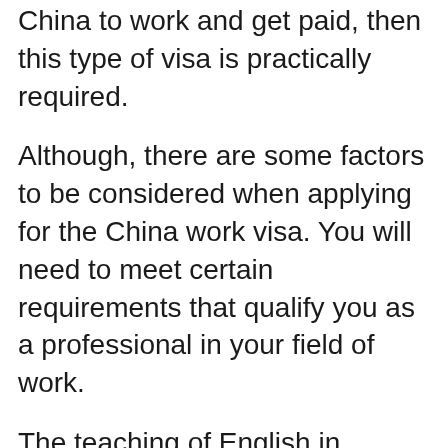China to work and get paid, then this type of visa is practically required.
Although, there are some factors to be considered when applying for the China work visa. You will need to meet certain requirements that qualify you as a professional in your field of work.
The teaching of English in schools has been the major source of employment for foreigners in China see HERE for more details on working in China as a Nigerian Citizen.
Note: please let me warn you that you may get deported if you are caught working for pay without a work visa as it is clearly illegal.